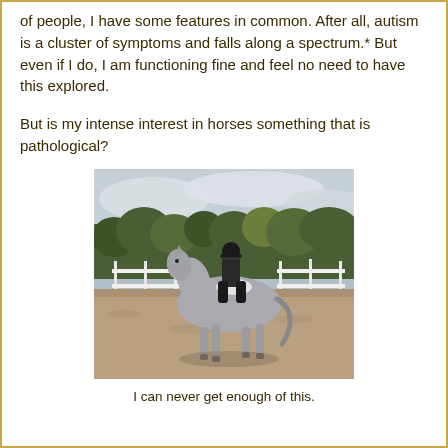of people, I have some features in common. After all, autism is a cluster of symptoms and falls along a spectrum.* But even if I do, I am functioning fine and feel no need to have this explored.
But is my intense interest in horses something that is pathological?
[Figure (photo): A rider dressed in black equestrian attire and helmet sits on a gray horse trotting in a sand arena, with a white fence and autumn trees in the background.]
I can never get enough of this.